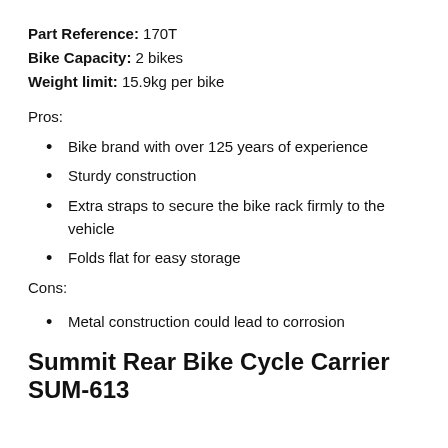Part Reference: 170T
Bike Capacity: 2 bikes
Weight limit: 15.9kg per bike
Pros:
Bike brand with over 125 years of experience
Sturdy construction
Extra straps to secure the bike rack firmly to the vehicle
Folds flat for easy storage
Cons:
Metal construction could lead to corrosion
Summit Rear Bike Cycle Carrier SUM-613